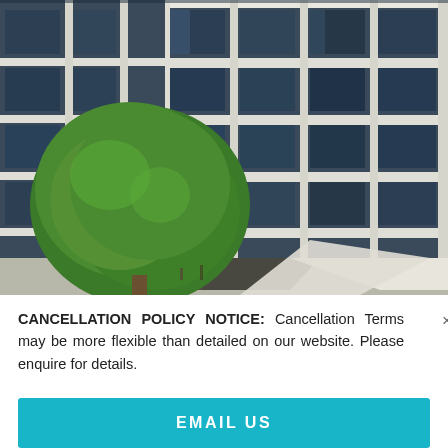[Figure (photo): Exterior photo of a modern glass office building with reflective curtain wall facade, with a large green tree in the foreground and outdoor canopy awnings at street level.]
CANCELLATION POLICY NOTICE: Cancellation Terms may be more flexible than detailed on our website. Please enquire for details.
EMAIL US